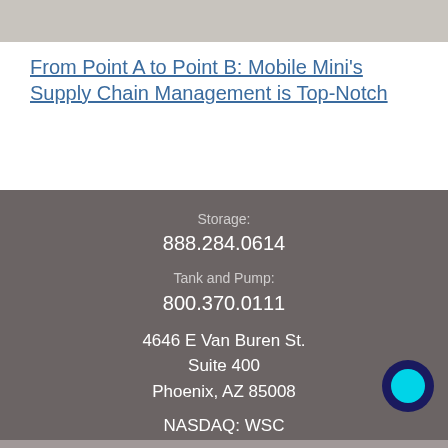[Figure (photo): Partial view of a photograph showing what appears to be construction or storage materials in gray/beige tones]
From Point A to Point B: Mobile Mini's Supply Chain Management is Top-Notch
Storage: 888.284.0614
Tank and Pump: 800.370.0111
4646 E Van Buren St.
Suite 400
Phoenix, AZ 85008
NASDAQ: WSC